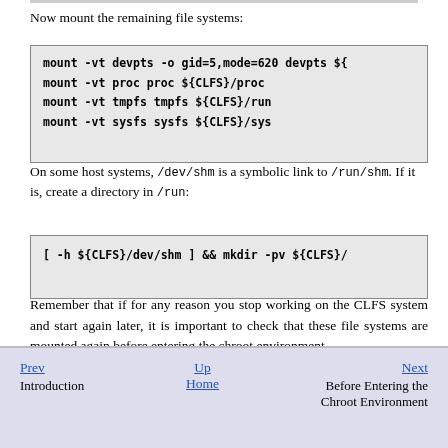Now mount the remaining file systems:
mount -vt devpts -o gid=5,mode=620 devpts ${
mount -vt proc proc ${CLFS}/proc
mount -vt tmpfs tmpfs ${CLFS}/run
mount -vt sysfs sysfs ${CLFS}/sys
On some host systems, /dev/shm is a symbolic link to /run/shm. If it is, create a directory in /run:
[ -h ${CLFS}/dev/shm ] && mkdir -pv ${CLFS}/
Remember that if for any reason you stop working on the CLFS system and start again later, it is important to check that these file systems are mounted again before entering the chroot environment.
Prev | Introduction | Up | Home | Next | Before Entering the Chroot Environment